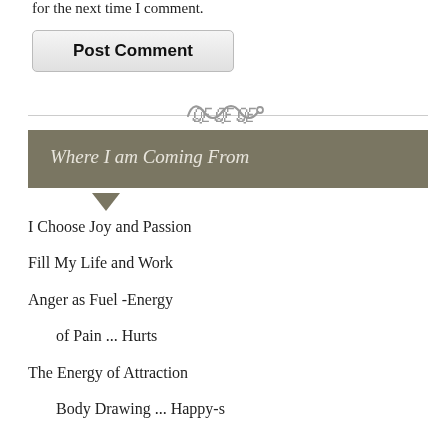for the next time I comment.
Post Comment
Where I am Coming From
I Choose Joy and Passion
Fill My Life and Work
Anger as Fuel -Energy
of Pain ... Hurts
The Energy of Attraction
Body Drawing ... Happy-s